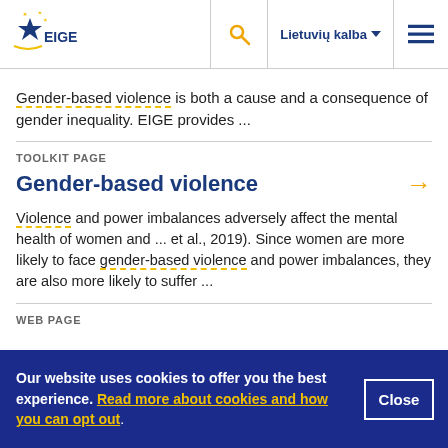[Figure (logo): EIGE European Institute for Gender Equality logo with star graphic]
Gender-based violence is both a cause and a consequence of gender inequality. EIGE provides ...
TOOLKIT PAGE
Gender-based violence
Violence and power imbalances adversely affect the mental health of women and ... et al., 2019). Since women are more likely to face gender-based violence and power imbalances, they are also more likely to suffer ...
WEB PAGE
Our website uses cookies to offer you the best experience. Read more about cookies and how you can opt out.